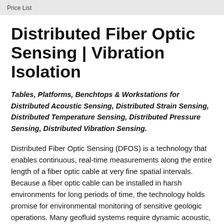Price List
Distributed Fiber Optic Sensing | Vibration Isolation
Tables, Platforms, Benchtops & Workstations for Distributed Acoustic Sensing, Distributed Strain Sensing, Distributed Temperature Sensing, Distributed Pressure Sensing, Distributed Vibration Sensing.
Distributed Fiber Optic Sensing (DFOS) is a technology that enables continuous, real-time measurements along the entire length of a fiber optic cable at very fine spatial intervals. Because a fiber optic cable can be installed in harsh environments for long periods of time, the technology holds promise for environmental monitoring of sensitive geologic operations. Many geofluid systems require dynamic acoustic, temperature, strain and pressure monitoring at